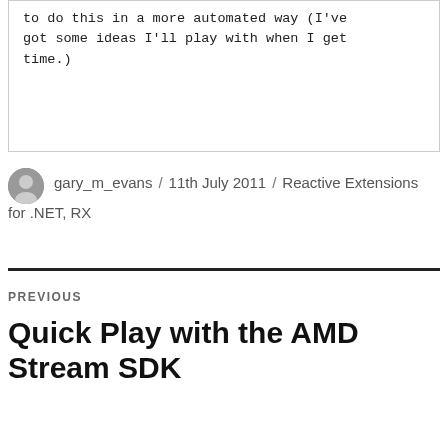to do this in a more automated way (I've got some ideas I'll play with when I get time.)
gary_m_evans / 11th July 2011 / Reactive Extensions for .NET, RX
PREVIOUS
Quick Play with the AMD Stream SDK